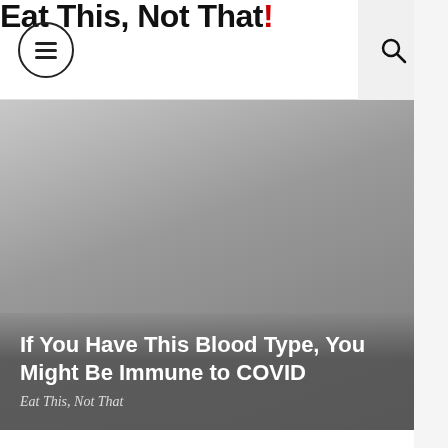Eat This, Not That!
[Figure (photo): Gray hero image banner with gradient overlay containing article title and source]
If You Have This Blood Type, You Might Be Immune to COVID
Eat This, Not That